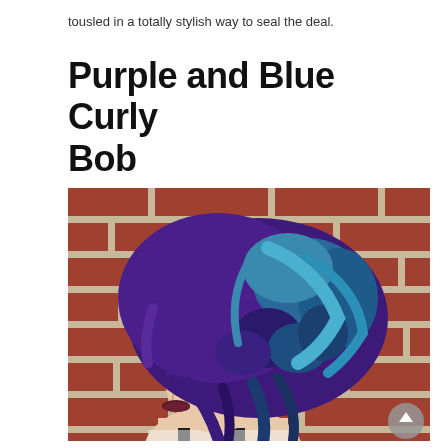tousled in a totally stylish way to seal the deal.
Purple and Blue Curly Bob
[Figure (photo): Side profile of a woman with a short curly bob hairstyle colored in purple and blue/teal tones, standing in front of a red brick wall.]